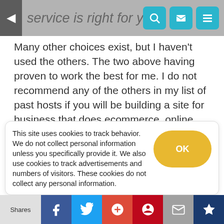service is right for you.
Many other choices exist, but I haven't used the others. The two above having proven to work the best for me. I do not recommend any of the others in my list of past hosts if you will be building a site for business that does ecommerce, online sales, or lead generation for your business.
Conclusions about Getting Optimized WordPress Hosting
If you write...
This site uses cookies to track behavior. We do not collect personal information unless you specifically provide it. We also use cookies to track advertisements and numbers of visitors. These cookies do not collect any personal information.
Shares | Facebook | Twitter | Google+ | Pinterest | Email | Bookmark